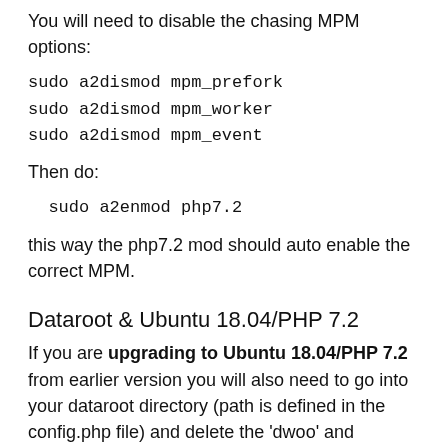You will need to disable the chasing MPM options:
sudo a2dismod mpm_prefork
sudo a2dismod mpm_worker
sudo a2dismod mpm_event
Then do:
sudo a2enmod php7.2
this way the php7.2 mod should auto enable the correct MPM.
Dataroot & Ubuntu 18.04/PHP 7.2
If you are upgrading to Ubuntu 18.04/PHP 7.2 from earlier version you will also need to go into your dataroot directory (path is defined in the config.php file) and delete the 'dwoo' and 'sessions' sub-directories.